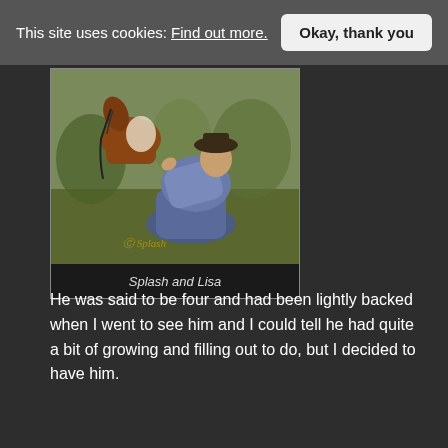This site uses cookies: Find out more.   Okay, thank you
[Figure (photo): A woman in a cowboy hat sitting on the ground with a horse, looking up at the horse. The image has a warm, rustic toned photography style.]
Splash and Lisa
He was said to be four and had been lightly backed when I went to see him and I could tell he had quite a bit of growing and filling out to do, but I decided to have him.
It was only when he was checked over by a vet at